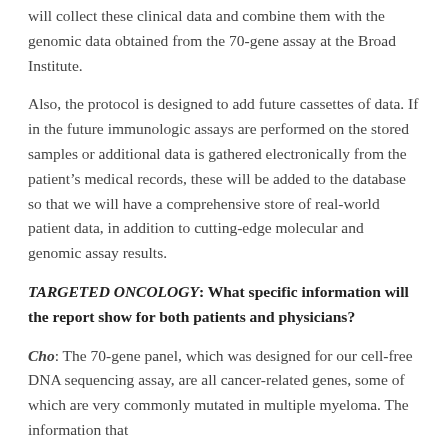will collect these clinical data and combine them with the genomic data obtained from the 70-gene assay at the Broad Institute.
Also, the protocol is designed to add future cassettes of data. If in the future immunologic assays are performed on the stored samples or additional data is gathered electronically from the patient's medical records, these will be added to the database so that we will have a comprehensive store of real-world patient data, in addition to cutting-edge molecular and genomic assay results.
TARGETED ONCOLOGY: What specific information will the report show for both patients and physicians?
Cho: The 70-gene panel, which was designed for our cell-free DNA sequencing assay, are all cancer-related genes, some of which are very commonly mutated in multiple myeloma. The information that